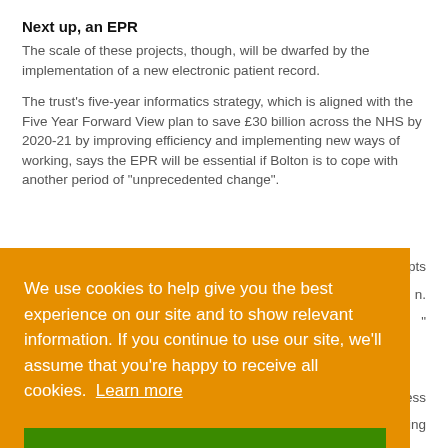Next up, an EPR
The scale of these projects, though, will be dwarfed by the implementation of a new electronic patient record.
The trust’s five-year informatics strategy, which is aligned with the Five Year Forward View plan to save £30 billion across the NHS by 2020-21 by improving efficiency and implementing new ways of working, says the EPR will be essential if Bolton is to cope with another period of “unprecedented change”.
We use cookies to help give you the best experience on our site and to show relevant information. If you continue to use our site, we’ll assume that you’re happy to receive all cookies. Learn more
Accept & close
E-obs will give nurses devices and more familiarity with mobile working.